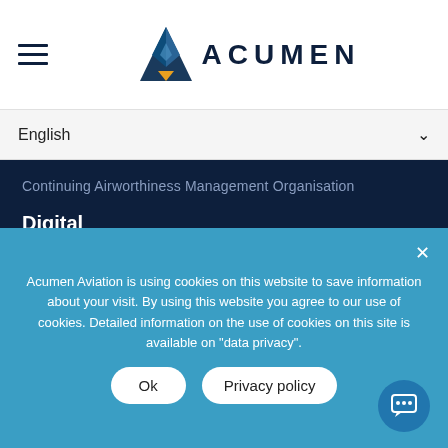[Figure (logo): Acumen Aviation logo with triangle icon and ACUMEN text]
English
Continuing Airworthiness Management Organisation
Digital
SPARTA
DSA
Training
Acumen Aviation is using cookies on this website to save information about your visit. By using this website you agree to our use of cookies. Detailed information on the use of cookies on this site is available on "data privacy".
Ok
Privacy policy